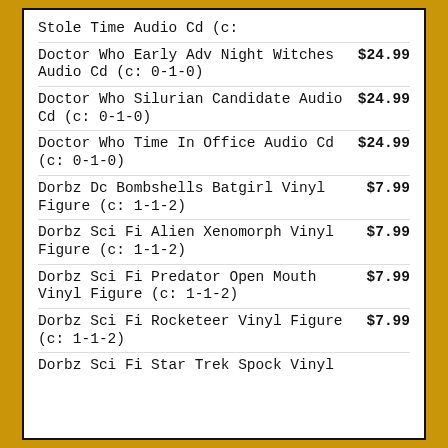Stole Time Audio Cd (c:
Doctor Who Early Adv Night Witches Audio Cd (c: 0-1-0) $24.99
Doctor Who Silurian Candidate Audio Cd (c: 0-1-0) $24.99
Doctor Who Time In Office Audio Cd (c: 0-1-0) $24.99
Dorbz Dc Bombshells Batgirl Vinyl Figure (c: 1-1-2) $7.99
Dorbz Sci Fi Alien Xenomorph Vinyl Figure (c: 1-1-2) $7.99
Dorbz Sci Fi Predator Open Mouth Vinyl Figure (c: 1-1-2) $7.99
Dorbz Sci Fi Rocketeer Vinyl Figure (c: 1-1-2) $7.99
Dorbz Sci Fi Star Trek Spock Vinyl